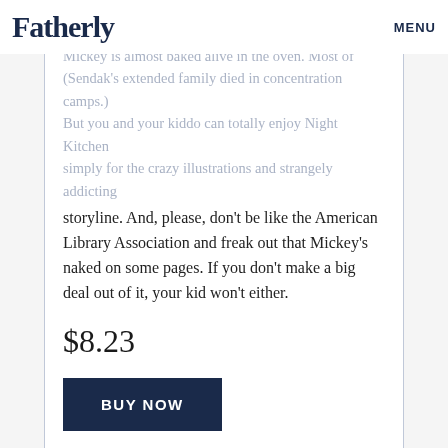Fatherly  MENU
Mickey is almost baked alive in the oven. Most of (Sendak's extended family died in concentration camps.) But you and your kiddo can totally enjoy Night Kitchen simply for the crazy illustrations and strangely addicting storyline. And, please, don’t be like the American Library Association and freak out that Mickey’s naked on some pages. If you don’t make a big deal out of it, your kid won’t either.
$8.23
BUY NOW
ADVERTISEMENT